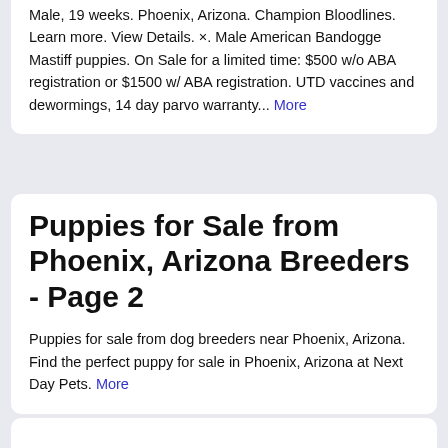Male, 19 weeks. Phoenix, Arizona. Champion Bloodlines. Learn more. View Details. ×. Male American Bandogge Mastiff puppies. On Sale for a limited time: $500 w/o ABA registration or $1500 w/ ABA registration. UTD vaccines and dewormings, 14 day parvo warranty... More
Puppies for Sale from Phoenix, Arizona Breeders - Page 2
Puppies for sale from dog breeders near Phoenix, Arizona. Find the perfect puppy for sale in Phoenix, Arizona at Next Day Pets. More